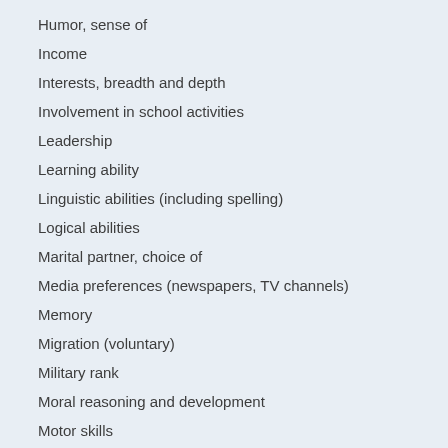Humor, sense of
Income
Interests, breadth and depth
Involvement in school activities
Leadership
Learning ability
Linguistic abilities (including spelling)
Logical abilities
Marital partner, choice of
Media preferences (newspapers, TV channels)
Memory
Migration (voluntary)
Military rank
Moral reasoning and development
Motor skills